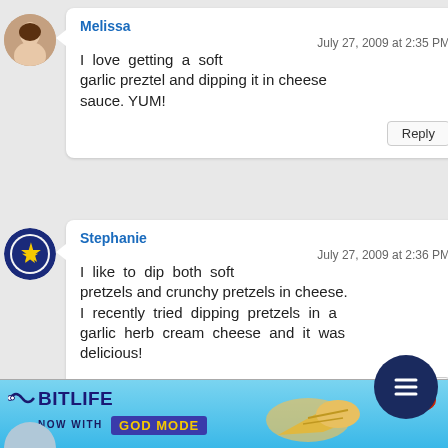Melissa
July 27, 2009 at 2:35 PM
I love getting a soft garlic preztel and dipping it in cheese sauce. YUM!
Reply
Stephanie
July 27, 2009 at 2:36 PM
I like to dip both soft pretzels and crunchy pretzels in cheese. I recently tried dipping pretzels in a garlic herb cream cheese and it was delicious!
Reply
[Figure (illustration): BitLife ad banner: BitLife logo with 'NOW WITH GOD MODE' text and hand pointing graphic on blue background]